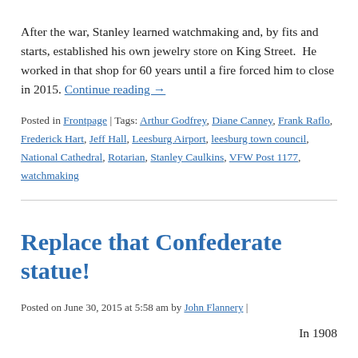After the war, Stanley learned watchmaking and, by fits and starts, established his own jewelry store on King Street.  He worked in that shop for 60 years until a fire forced him to close in 2015. Continue reading →
Posted in Frontpage | Tags: Arthur Godfrey, Diane Canney, Frank Raflo, Frederick Hart, Jeff Hall, Leesburg Airport, leesburg town council, National Cathedral, Rotarian, Stanley Caulkins, VFW Post 1177, watchmaking
Replace that Confederate statue!
Posted on June 30, 2015 at 5:58 am by John Flannery |
In 1908